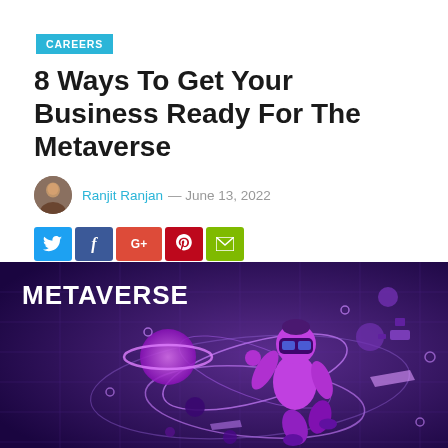CAREERS
8 Ways To Get Your Business Ready For The Metaverse
Ranjit Ranjan — June 13, 2022
[Figure (infographic): Social share buttons: Twitter, Facebook, Google+, Pinterest, Email]
[Figure (illustration): Metaverse themed illustration: purple/violet background with 3D character wearing VR headset running among orbital rings, planets, satellites, stars. Text 'METAVERSE' in white bold at top left.]